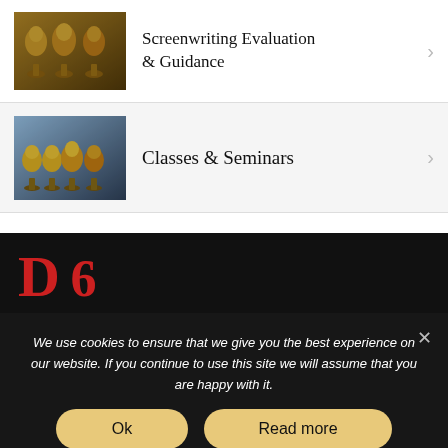Screenwriting Evaluation & Guidance
Classes & Seminars
[Figure (illustration): Partial red text logo letters visible on dark background]
We use cookies to ensure that we give you the best experience on our website. If you continue to use this site we will assume that you are happy with it.